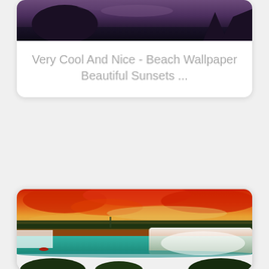[Figure (photo): Partial top of a beach/ocean sunset photo showing dark silhouettes against a purple-toned sky and dark water, cropped at the top]
Very Cool And Nice - Beach Wallpaper Beautiful Sunsets ...
[Figure (photo): Dramatic sunset photo of Niagara Falls with vivid orange-red clouds in the sky, turquoise-green river water in the foreground, waterfalls visible on the right side, and a cliff with trees stretching across the middle ground]